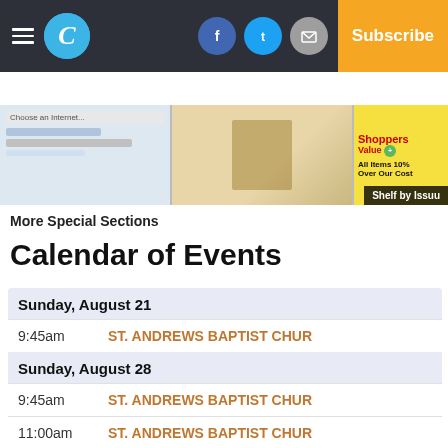Calendar of Events - Newspaper website header with logo, social icons, and Subscribe button
[Figure (screenshot): Thumbnail shelf showing three publication covers/ads with 'Shelf by Issuu' label]
More Special Sections
Calendar of Events
| Time | Event |
| --- | --- |
| Sunday, August 21 |  |
| 9:45am | ST. ANDREWS BAPTIST CHUR |
| Sunday, August 28 |  |
| 9:45am | ST. ANDREWS BAPTIST CHUR |
| 11:00am | ST. ANDREWS BAPTIST CHUR |
| 11:00am | St. Michael Baptist Church |
| Sunday, September 4 |  |